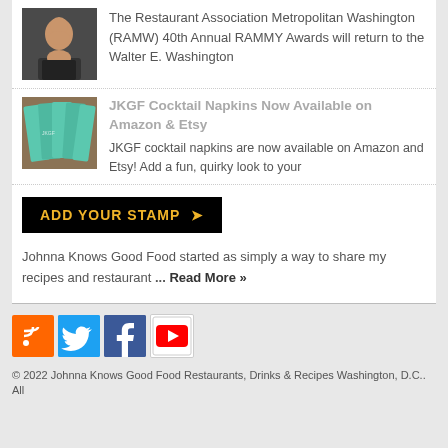The Restaurant Association Metropolitan Washington (RAMW) 40th Annual RAMMY Awards will return to the Walter E. Washington
JKGF Cocktail Napkins Now Available on Amazon & Etsy
JKGF cocktail napkins are now available on Amazon and Etsy! Add a fun, quirky look to your
ADD YOUR STAMP »
Johnna Knows Good Food started as simply a way to share my recipes and restaurant ... Read More »
ARCHIVES
Select Month
© 2022 Johnna Knows Good Food Restaurants, Drinks & Recipes Washington, D.C.. All